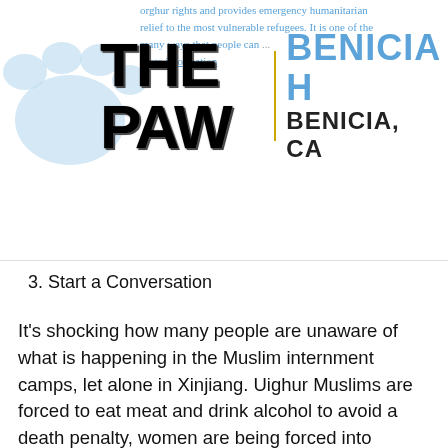THE PAW | BENICIA | BENICIA, CA
orghur rights and provides emergency humanitarian relief to the most vulnerable refugees. It is one of the many ways that people can... more information
3. Start a Conversation
It's shocking how many people are unaware of what is happening in the Muslim internment camps, let alone in Xinjiang. Uighur Muslims are forced to eat meat and drink alcohol to avoid a death penalty, women are being forced into marriages where they are mass raped, and children have been ripped from their parents and locked into orphanages where they are brainwashed and abused. It is vital that people use their freedom of speech to start a conversation about China's modern-day concentration camps. Organizations such as Save Uighur are helping people initiate a conversation in their